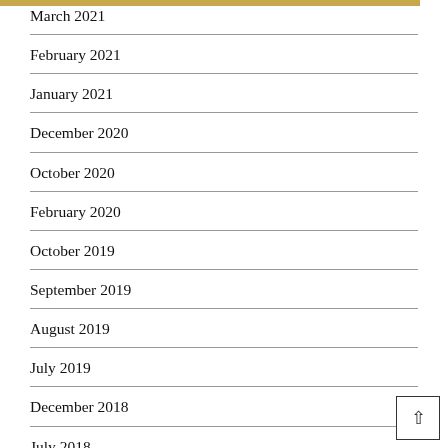March 2021
February 2021
January 2021
December 2020
October 2020
February 2020
October 2019
September 2019
August 2019
July 2019
December 2018
July 2018
June 2018